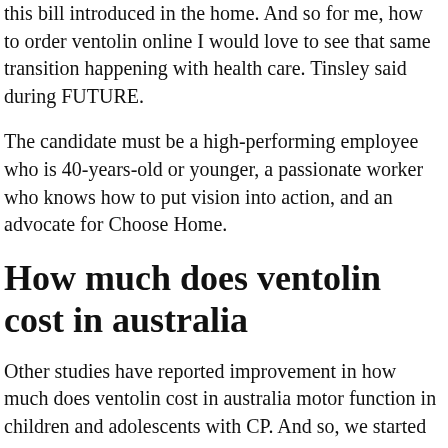this bill introduced in the home. And so for me, how to order ventolin online I would love to see that same transition happening with health care. Tinsley said during FUTURE.
The candidate must be a high-performing employee who is 40-years-old or younger, a passionate worker who knows how to put vision into action, and an advocate for Choose Home.
How much does ventolin cost in australia
Other studies have reported improvement in how much does ventolin cost in australia motor function in children and adolescents with CP. And so, we started